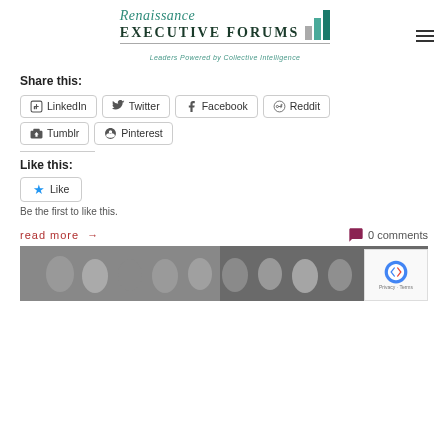[Figure (logo): Renaissance Executive Forums logo with bar chart icon and tagline 'Leaders Powered by Collective Intelligence']
Share this:
LinkedIn
Twitter
Facebook
Reddit
Tumblr
Pinterest
Like this:
Like
Be the first to like this.
read more →
0 comments
[Figure (photo): Group photo of business executives at an event]